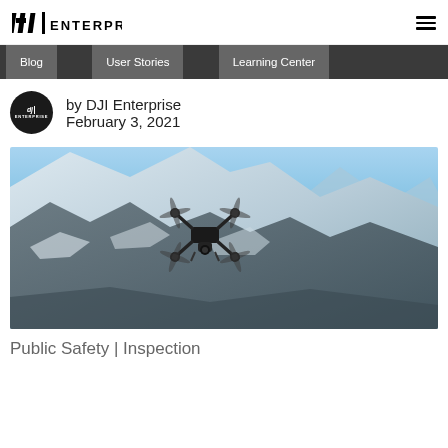DJI ENTERPRISE
Blog | User Stories | Learning Center
by DJI Enterprise
February 3, 2021
[Figure (photo): A DJI enterprise drone flying over a snowy mountain landscape with blue sky in the background]
Public Safety | Inspection